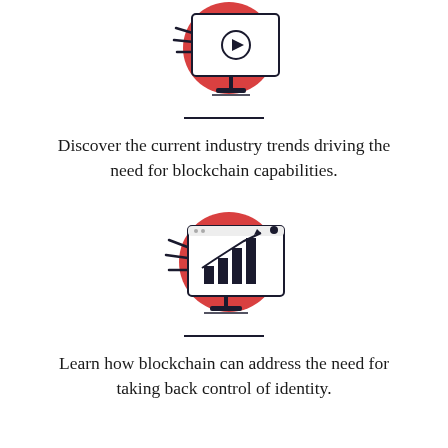[Figure (illustration): Illustration of a laptop/monitor with a large red circle behind it, showing a video play button icon — representing streaming or video content]
Discover the current industry trends driving the need for blockchain capabilities.
[Figure (illustration): Illustration of a laptop/monitor with a large red circle behind it, showing a bar chart with an upward trending arrow — representing data analytics or financial growth]
Learn how blockchain can address the need for taking back control of identity.